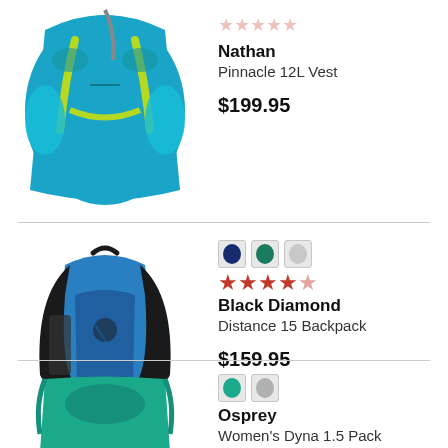[Figure (photo): Blue hydration running vest (Nathan Pinnacle 12L Vest)]
Nathan
Pinnacle 12L Vest
$199.95
[Figure (photo): Blue Black Diamond Distance 15 Backpack with black straps]
Black Diamond
Distance 15 Backpack
$159.95
[Figure (photo): Teal Osprey running vest/pack]
Osprey
Women's Dyna 1.5 Pack